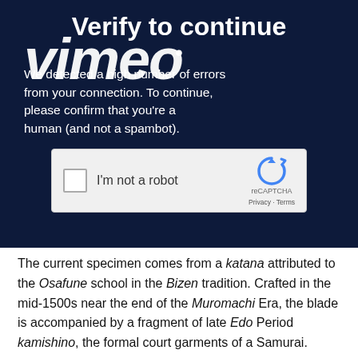[Figure (screenshot): Vimeo 'Verify to continue' reCAPTCHA page screenshot on dark navy background, with large white Vimeo logo watermark overlaid. Shows title 'Verify to continue', body text about high number of errors, and a reCAPTCHA 'I'm not a robot' checkbox widget.]
The current specimen comes from a katana attributed to the Osafune school in the Bizen tradition. Crafted in the mid-1500s near the end of the Muromachi Era, the blade is accompanied by a fragment of late Edo Period kamishino, the formal court garments of a Samurai.